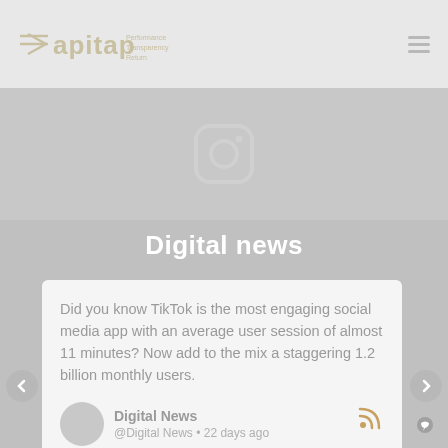apitap [logo with tagline: Performance, Transparency, Return]
[Figure (illustration): Gray banner section with Instagram icon (camera outline) centered]
Digital news
Did you know TikTok is the most engaging social media app with an average user session of almost 11 minutes? Now add to the mix a staggering 1.2 billion monthly users.
Digital News
@Digital News • 22 days ago